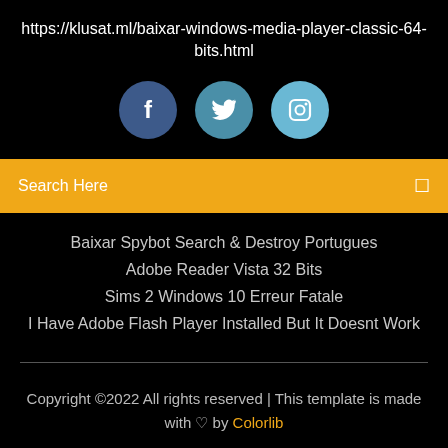https://klusat.ml/baixar-windows-media-player-classic-64-bits.html
[Figure (illustration): Three social media icon circles: Facebook (dark blue), Twitter (medium blue), Instagram (light blue)]
Search Here
Baixar Spybot Search & Destroy Portugues
Adobe Reader Vista 32 Bits
Sims 2 Windows 10 Erreur Fatale
I Have Adobe Flash Player Installed But It Doesnt Work
Copyright ©2022 All rights reserved | This template is made with ♡ by Colorlib